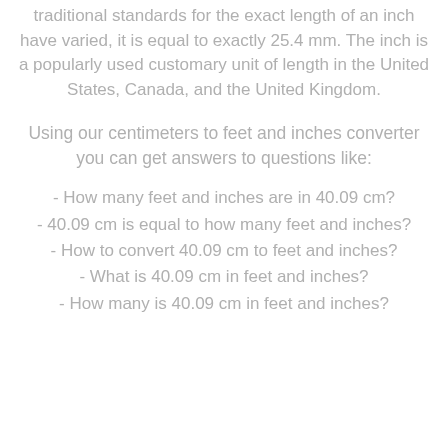traditional standards for the exact length of an inch have varied, it is equal to exactly 25.4 mm. The inch is a popularly used customary unit of length in the United States, Canada, and the United Kingdom.
Using our centimeters to feet and inches converter you can get answers to questions like:
- How many feet and inches are in 40.09 cm?
- 40.09 cm is equal to how many feet and inches?
- How to convert 40.09 cm to feet and inches?
- What is 40.09 cm in feet and inches?
- How many is 40.09 cm in feet and inches?